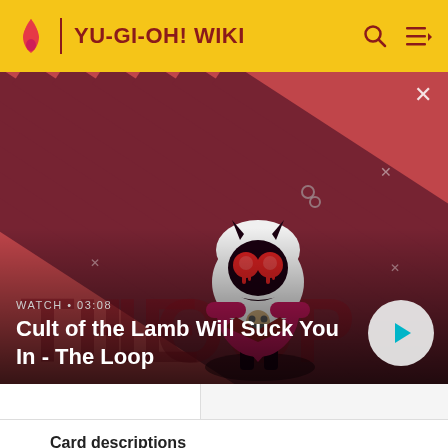YU-GI-OH! WIKI
[Figure (screenshot): Video thumbnail for 'Cult of the Lamb Will Suck You In - The Loop' with animated lamb character on striped red/dark background, showing WATCH • 03:08 label and play button]
Card descriptions
TCG sets
OCG sets